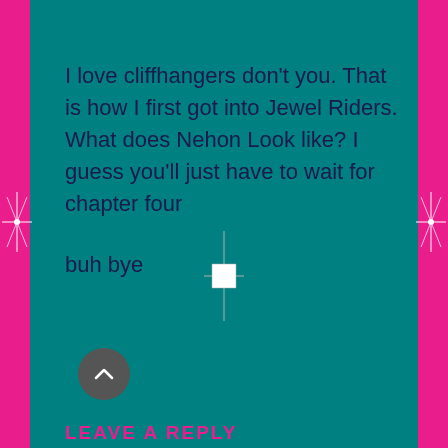I love cliffhangers don't you. That is how I first got into Jewel Riders. What does Nehon Look like? I guess you'll just have to wait for chapter four
buh bye
[Figure (other): Small white square with thin cross/plus lines through it, centered on teal background - likely a UI element or image placeholder]
[Figure (other): Circular scroll-to-top button with upward chevron arrow, dark gray]
LEAVE A REPLY